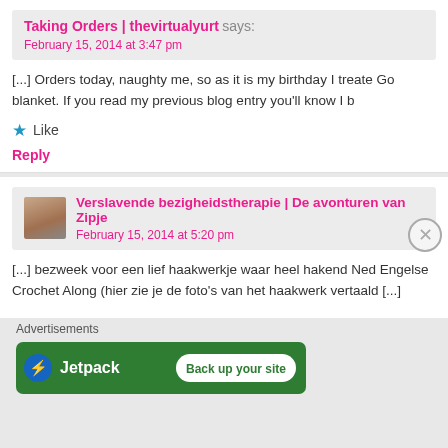Taking Orders | thevirtualyurt says:
February 15, 2014 at 3:47 pm
[...] Orders today, naughty me, so as it is my birthday I treate Go blanket. If you read my previous blog entry you'll know I b
Like
Reply
Verslavende bezigheidstherapie | De avonturen van Zipje
February 15, 2014 at 5:20 pm
[...] bezweek voor een lief haakwerkje waar heel hakend Ned Engelse Crochet Along (hier zie je de foto's van het haakwerk vertaald [...]
Advertisements
[Figure (screenshot): Jetpack advertisement banner with logo and 'Back up your site' button on green background]